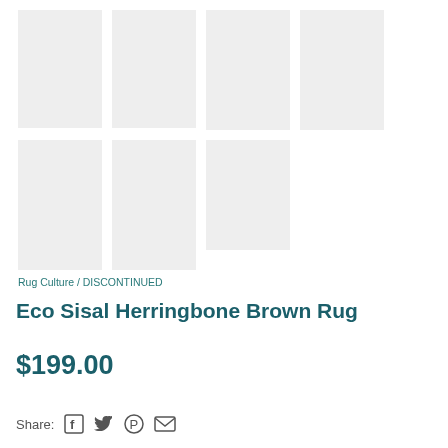[Figure (photo): Seven placeholder thumbnail images arranged in two rows on a white background. Top row has four tall rectangles (light gray). Bottom row has three tall rectangles (light gray). All thumbnails appear to be loading placeholders for product images.]
Rug Culture / DISCONTINUED
Eco Sisal Herringbone Brown Rug
$199.00
Share: